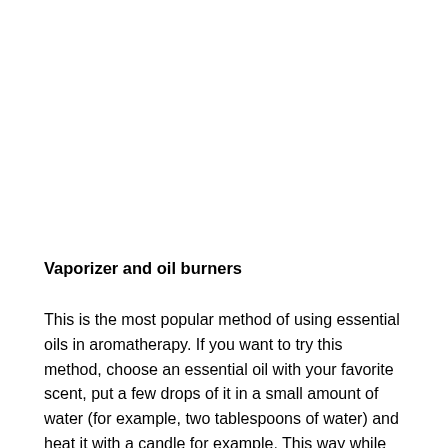Vaporizer and oil burners
This is the most popular method of using essential oils in aromatherapy. If you want to try this method, choose an essential oil with your favorite scent, put a few drops of it in a small amount of water (for example, two tablespoons of water) and heat it with a candle for example. This way while the water evaporates, the scent of the oil will fill in the room